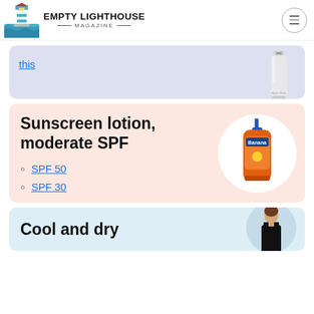EMPTY LIGHTHOUSE MAGAZINE
[Figure (screenshot): Partial card with lavender background showing a hyperlink 'this' and a Hydro Flask bottle image]
this
Sunscreen lotion, moderate SPF
SPF 50
SPF 30
[Figure (photo): Orange sunscreen lotion bottle with blue pump top on white circular background]
Cool and dry
[Figure (photo): Person wearing black tank top, partially visible in blue circular background]